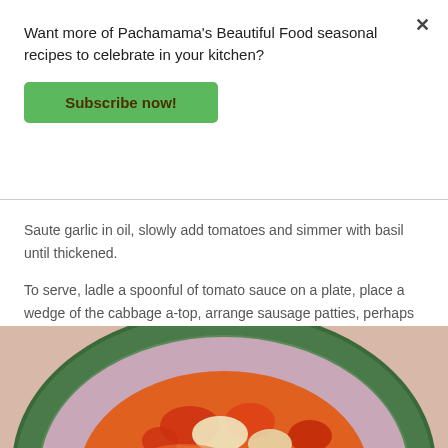Want more of Pachamama's Beautiful Food seasonal recipes to celebrate in your kitchen?
Subscribe now!
Saute garlic in oil, slowly add tomatoes and simmer with basil until thickened.
To serve, ladle a spoonful of tomato sauce on a plate, place a wedge of the cabbage a-top, arrange sausage patties, perhaps a little more sauce, and serve...
[Figure (photo): A decorative green plate with a bowl of tomato-based stew or soup with cabbage and sausage, photographed from above on a pinkish surface.]